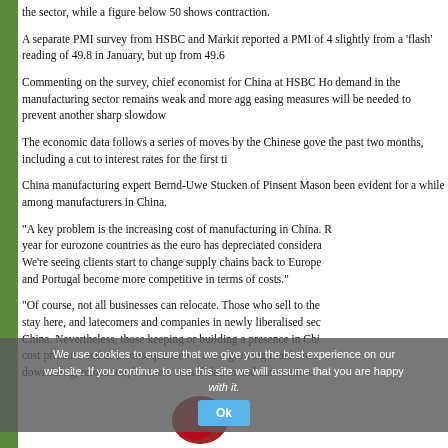the sector, while a figure below 50 shows contraction.
A separate PMI survey from HSBC and Markit reported a PMI of 4 slightly from a ‘flash’ reading of 49.8 in January, but up from 49.6
Commenting on the survey, chief economist for China at HSBC Ho demand in the manufacturing sector remains weak and more agg easing measures will be needed to prevent another sharp slowdo
The economic data follows a series of moves by the Chinese gove the past two months, including a cut to interest rates for the first t
China manufacturing expert Bernd-Uwe Stucken of Pinsent Mason been evident for a while among manufacturers in China.
“A key problem is the increasing cost of manufacturing in China. R year for eurozone countries as the euro has depreciated considera We’re seeing clients start to change supply chains back to Europe and Portugal become more competitive in terms of costs.”
“Of course, not all businesses can relocate. Those who sell to the stay here, and latecomers and companies in newly liberalised sec China. Nevertheless, those keeping or building a presence in Chi cost pressure and as a consequence we see a growing trend towa downsizing, relocation, business consolidation and automation.”
We use cookies to ensure that we give you the best experience on our website. If you continue to use this site we will assume that you are happy with it.